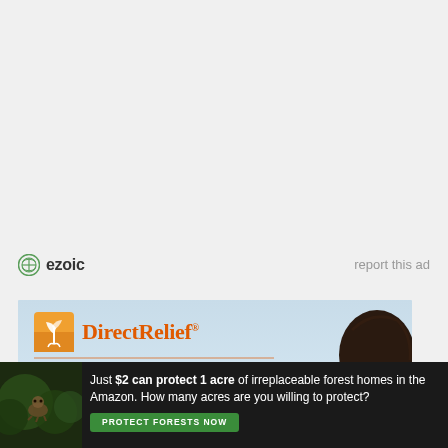[Figure (logo): Ezoic logo with green circle icon and text 'ezoic']
report this ad
[Figure (photo): DirectRelief advertisement banner with orange logo, person silhouette, and 'ANYTIME' text on orange background]
[Figure (infographic): Bottom banner ad: 'Just $2 can protect 1 acre of irreplaceable forest homes in the Amazon. How many acres are you willing to protect?' with green 'PROTECT FORESTS NOW' button]